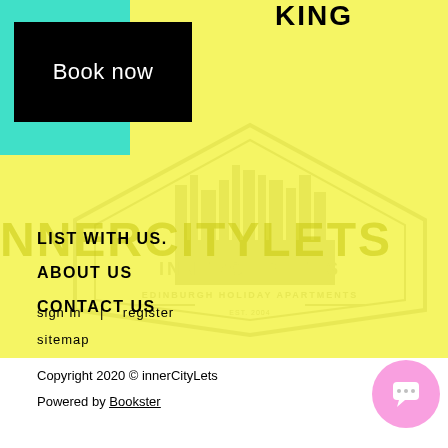KING
Book now
LIST WITH US.
ABOUT US
CONTACT US
[Figure (logo): innerCityLets Edinburgh Holiday Apartments badge/watermark logo in yellow]
sign in  |  register
sitemap
Copyright 2020 © innerCityLets
Powered by Bookster